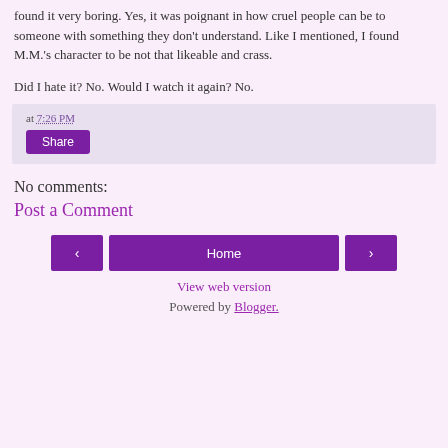found it very boring.  Yes, it was poignant in how cruel people can be to someone with something they don't understand.  Like I mentioned, I found M.M.'s character to be not that likeable and crass.
Did I hate it?  No.  Would I watch it again?  No.
at 7:26 PM
Share
No comments:
Post a Comment
‹
Home
›
View web version
Powered by Blogger.